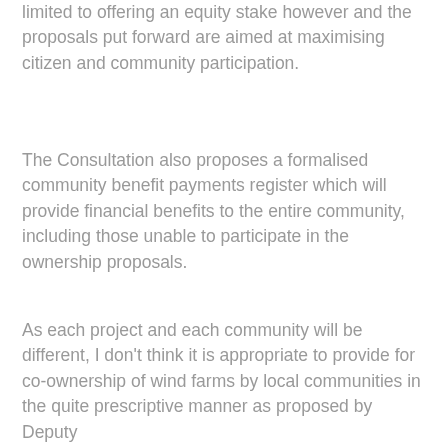limited to offering an equity stake however and the proposals put forward are aimed at maximising citizen and community participation.
The Consultation also proposes a formalised community benefit payments register which will provide financial benefits to the entire community, including those unable to participate in the ownership proposals.
As each project and each community will be different, I don't think it is appropriate to provide for co-ownership of wind farms by local communities in the quite prescriptive manner as proposed by Deputy